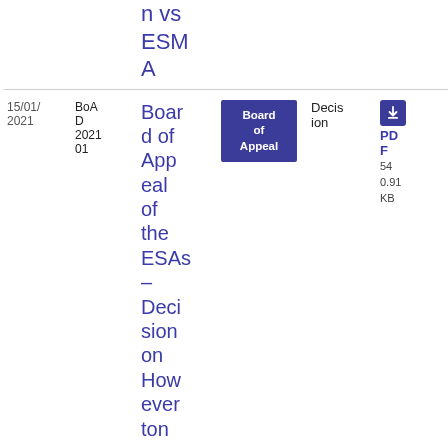| Date | Reference | Title | Category | Type | Download |
| --- | --- | --- | --- | --- | --- |
|  |  | n vs ESMA |  |  |  |
| 15/01/2021 | BoAD 202101 | Board of Appeal of the ESAs – Decision on Howeverton vs EBA | Board of Appeal | Decision | PDF 540.91 KB |
|  |  |  | Credit |  |  |